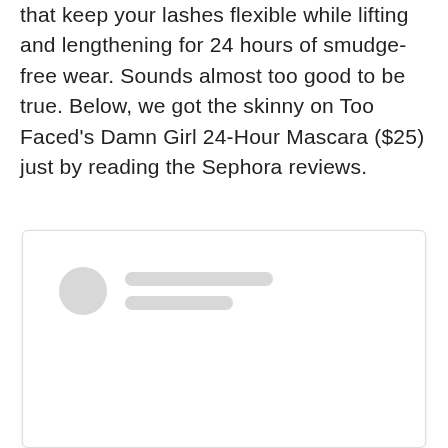that keep your lashes flexible while lifting and lengthening for 24 hours of smudge-free wear. Sounds almost too good to be true. Below, we got the skinny on Too Faced's Damn Girl 24-Hour Mascara ($25) just by reading the Sephora reviews.
[Figure (screenshot): A blurred/placeholder social media post card with a circular avatar placeholder and two gray rounded rectangle lines representing a username and handle, on a white card with a light border.]